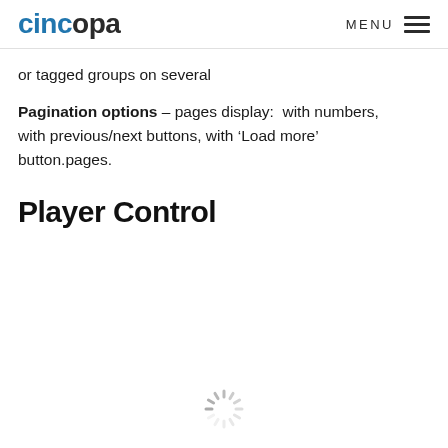cincopa  MENU
or tagged groups on several
Pagination options – pages display:  with numbers, with previous/next buttons, with ‘Load more’ button.pages.
Player Control
[Figure (other): Loading spinner icon (circular dashed/dotted progress indicator)]